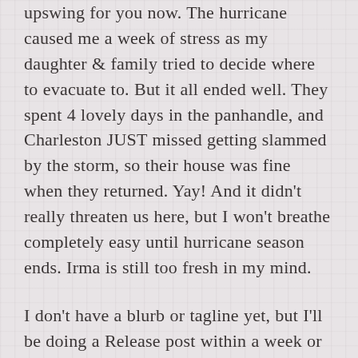upswing for you now. The hurricane caused me a week of stress as my daughter & family tried to decide where to evacuate to. But it all ended well. They spent 4 lovely days in the panhandle, and Charleston JUST missed getting slammed by the storm, so their house was fine when they returned. Yay! And it didn't really threaten us here, but I won't breathe completely easy until hurricane season ends. Irma is still too fresh in my mind.
I don't have a blurb or tagline yet, but I'll be doing a Release post within a week or two of the cover reveal. Would you prefer to wait for that? I